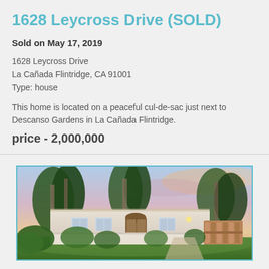1628 Leycross Drive (SOLD)
Sold on May 17, 2019
1628 Leycross Drive
La Cañada Flintridge, CA 91001
Type: house
This home is located on a peaceful cul-de-sac just next to Descanso Gardens in La Cañada Flintridge.
price - 2,000,000
[Figure (photo): Exterior photo of a white Spanish-style single-story house with large trees, green landscaping, a wooden gate, and a blue dusk sky in the background.]